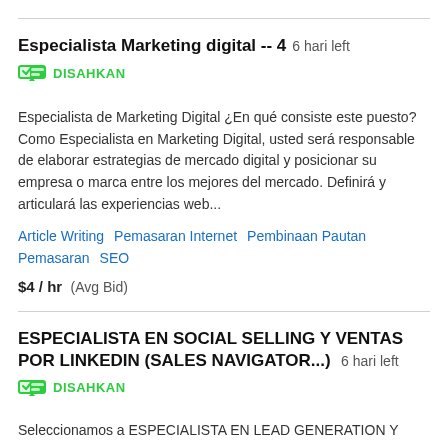Especialista Marketing digital -- 4   6 hari left
DISAHKAN
Especialista de Marketing Digital ¿En qué consiste este puesto? Como Especialista en Marketing Digital, usted será responsable de elaborar estrategias de mercado digital y posicionar su empresa o marca entre los mejores del mercado. Definirá y articulará las experiencias web...
Article Writing   Pemasaran Internet   Pembinaan Pautan   Pemasaran   SEO
$4 / hr  (Avg Bid)
ESPECIALISTA EN SOCIAL SELLING Y VENTAS POR LINKEDIN (SALES NAVIGATOR...)   6 hari left
DISAHKAN
Seleccionamos a ESPECIALISTA EN LEAD GENERATION Y...